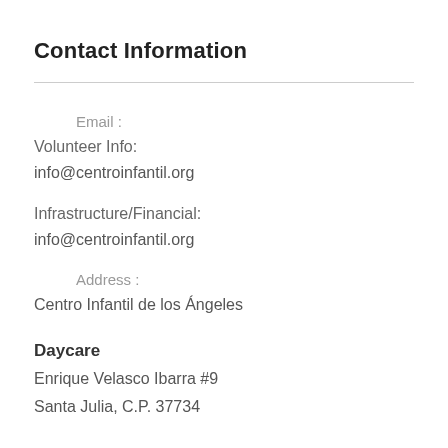Contact Information
Email :
Volunteer Info:
info@centroinfantil.org
Infrastructure/Financial:
info@centroinfantil.org
Address :
Centro Infantil de los Ángeles
Daycare
Enrique Velasco Ibarra #9
Santa Julia, C.P. 37734